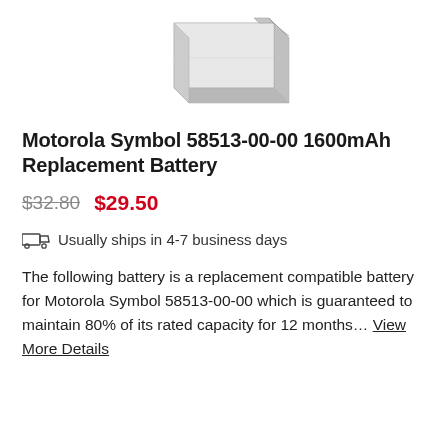[Figure (photo): Product photo of a gray rectangular replacement battery pack for Motorola Symbol, shown from a slightly angled perspective against a white background.]
Motorola Symbol 58513-00-00 1600mAh Replacement Battery
$32.80  $29.50
Usually ships in 4-7 business days
The following battery is a replacement compatible battery for Motorola Symbol 58513-00-00 which is guaranteed to maintain 80% of its rated capacity for 12 months… View More Details